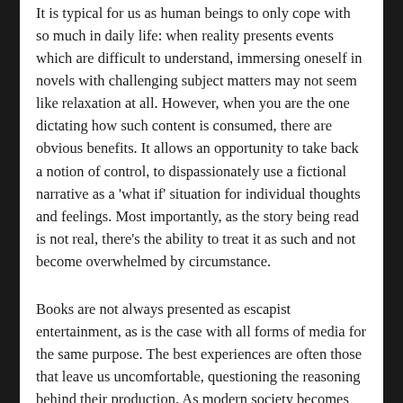It is typical for us as human beings to only cope with so much in daily life: when reality presents events which are difficult to understand, immersing oneself in novels with challenging subject matters may not seem like relaxation at all. However, when you are the one dictating how such content is consumed, there are obvious benefits. It allows an opportunity to take back a notion of control, to dispassionately use a fictional narrative as a 'what if' situation for individual thoughts and feelings. Most importantly, as the story being read is not real, there's the ability to treat it as such and not become overwhelmed by circumstance.
Books are not always presented as escapist entertainment, as is the case with all forms of media for the same purpose. The best experiences are often those that leave us uncomfortable, questioning the reasoning behind their production. As modern society becomes more and more indignant over the content of media, often without ever having consumed it for themselves, to begin with